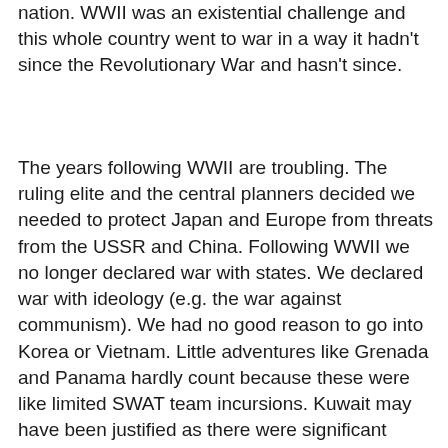nation. WWII was an existential challenge and this whole country went to war in a way it hadn't since the Revolutionary War and hasn't since.
The years following WWII are troubling. The ruling elite and the central planners decided we needed to protect Japan and Europe from threats from the USSR and China. Following WWII we no longer declared war with states. We declared war with ideology (e.g. the war against communism). We had no good reason to go into Korea or Vietnam. Little adventures like Grenada and Panama hardly count because these were like limited SWAT team incursions. Kuwait may have been justified as there were significant national interests at stake. Still, Kuwait should have reimbursed us for their liberation. Then we